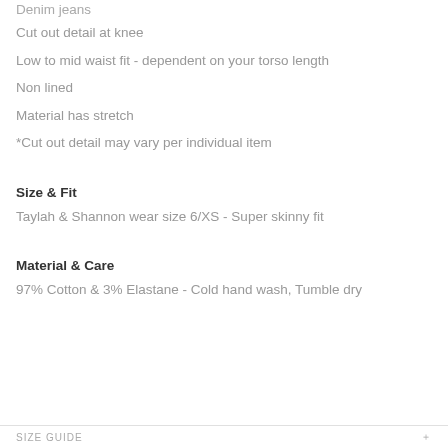Denim jeans
Cut out detail at knee
Low to mid waist fit - dependent on your torso length
Non lined
Material has stretch
*Cut out detail may vary per individual item
Size & Fit
Taylah & Shannon wear size 6/XS - Super skinny fit
Material & Care
97% Cotton & 3% Elastane - Cold hand wash, Tumble dry
SIZE GUIDE